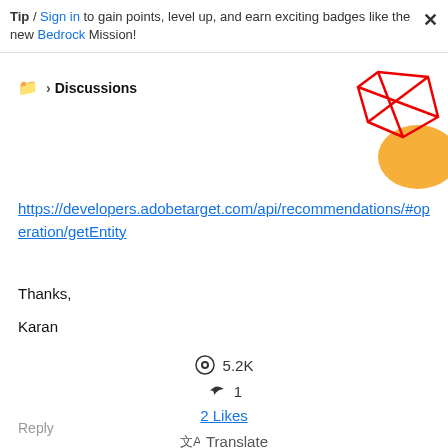Tip / Sign in to gain points, level up, and earn exciting badges like the new Bedrock Mission!
📁 > Discussions
[Figure (illustration): Decorative geometric illustration with red lines forming abstract shapes and an orange circular element, top-right corner]
https://developers.adobetarget.com/api/recommendations/#operation/getEntity
Thanks,
Karan
👁 5.2K
↩ 1
2 Likes
🔤 Translate
Reply